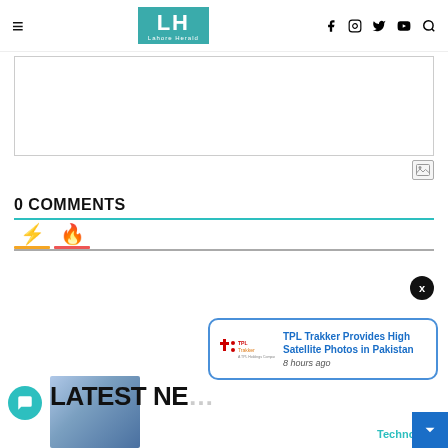Lahore Herald — navigation header with logo, hamburger menu, and social icons
[Figure (other): Advertisement placeholder box]
[Figure (other): Image/media icon button]
0 COMMENTS
[Figure (other): Lightning bolt icon tab (active)]
[Figure (other): Flame icon tab]
[Figure (other): Notification popup: TPL Trakker Provides High Satellite Photos in Pakistan, 8 hours ago]
LATEST NE…
Technology